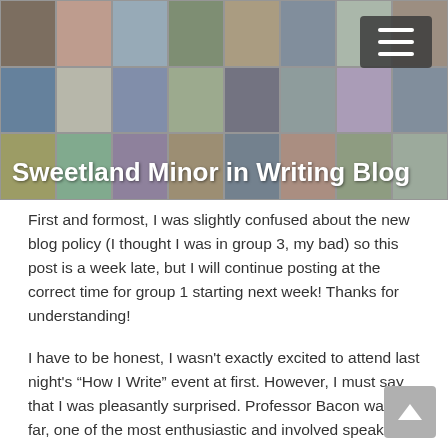[Figure (photo): Collage of photographs forming a banner header background for the Sweetland Minor in Writing Blog]
Sweetland Minor in Writing Blog
First and formost, I was slightly confused about the new blog policy (I thought I was in group 3, my bad) so this post is a week late, but I will continue posting at the correct time for group 1 starting next week! Thanks for understanding!
I have to be honest, I wasn't exactly excited to attend last night's “How I Write” event at first. However, I must say that I was pleasantly surprised. Professor Bacon was, by far, one of the most enthusiastic and involved speakers I have seen recently. His passion for the subject of writing was so evident, which I think was ultimately the cause of my draw towards his speech. However, the fact that he is a successful author itself didn't...